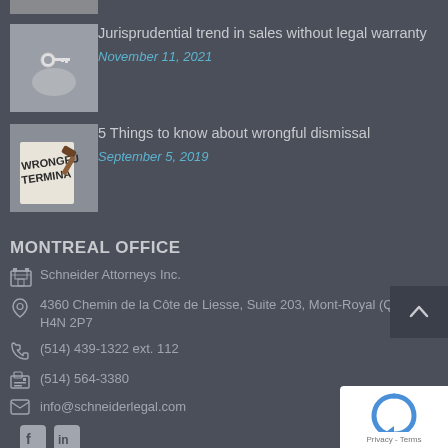[Figure (photo): Partial image strip at top (cropped)]
[Figure (photo): Hand holding keys - jurisprudential trend article thumbnail]
Jurisprudential trend in sales without legal warranty
November 11, 2021
[Figure (photo): Wrongful termination document with gavel - article thumbnail]
5 Things to know about wrongful dismissal
September 5, 2019
MONTREAL OFFICE
Schneider Attorneys Inc.
4360 Chemin de la Côte de Liesse, Suite 203, Mont-Royal (Québec) H4N 2P7
(514) 439-1322 ext. 112
(514) 564-3380
info@schneiderlegal.com